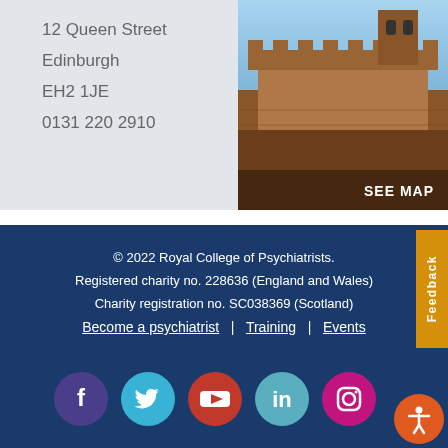12 Queen Street
Edinburgh
EH2 1JE
0131 220 2910
[Figure (photo): Photograph of Edinburgh Castle with stone ramparts against a blue sky, with 'SEE MAP' text overlay at bottom right]
© 2022 Royal College of Psychiatrists. Registered charity no. 228636 (England and Wales) Charity registration no. SC038369 (Scotland) Become a psychiatrist | Training | Events
[Figure (infographic): Social media icons row: Facebook (purple), Twitter (light blue), YouTube (red), LinkedIn (teal), Instagram (pink)]